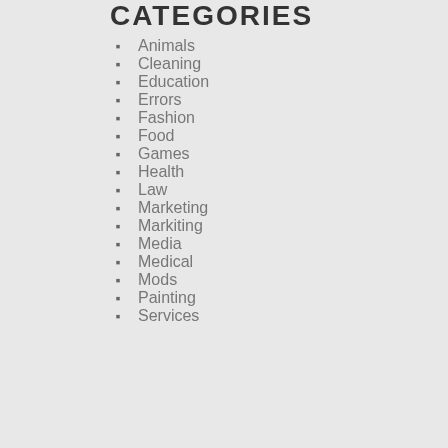CATEGORIES
Animals
Cleaning
Education
Errors
Fashion
Food
Games
Health
Law
Marketing
Markiting
Media
Medical
Mods
Painting
Services